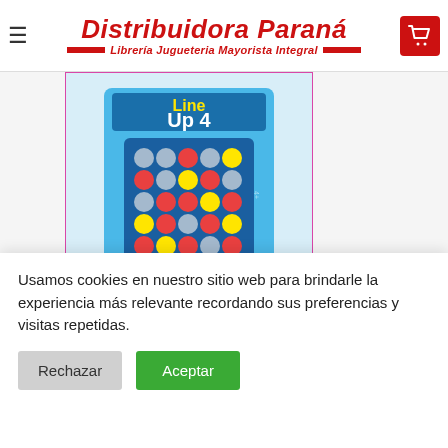Distribuidora Paraná - Librería Jugueteria Mayorista Integral
[Figure (screenshot): Product card showing a Line Up 4 (Connect 4 style) board game in a blue box, with a grid of red and yellow checker pieces.]
PhotoBoom
IMPORTACION VARIA
JUGUETE DE MESA 707 4 EN LINEA CH.
ZX1117000
Usamos cookies en nuestro sitio web para brindarle la experiencia más relevante recordando sus preferencias y visitas repetidas.